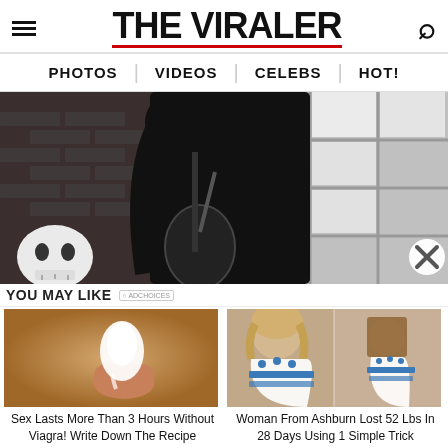THE VIRALER
PHOTOS | VIDEOS | CELEBS | HOT!
[Figure (photo): A young woman in a black outfit with long dark hair, photographed in a studio with brick wall and window grid background. A skull prop is visible in the lower left.]
YOU MAY LIKE
[Figure (photo): Close-up of a white/translucent substance on a fingertip, on a warm-toned background.]
[Figure (photo): Before and after comparison of a woman in a white dress with blue accents showing weight loss results.]
Sex Lasts More Than 3 Hours Without Viagra! Write Down The Recipe
Woman From Ashburn Lost 52 Lbs In 28 Days Using 1 Simple Trick